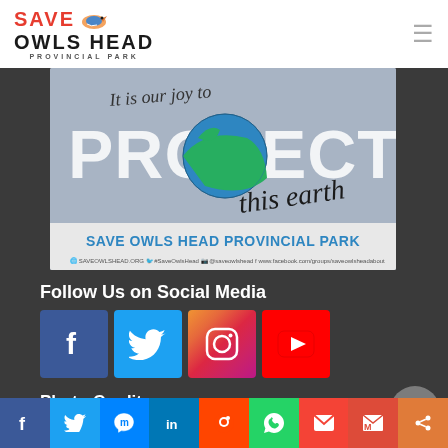[Figure (logo): Save Owls Head Provincial Park logo with bird graphic and hamburger menu icon]
[Figure (photo): Promotional image reading 'It is our joy to PROTECT this earth - SAVE OWLS HEAD PROVINCIAL PARK' with globe graphic and social media handles]
Follow Us on Social Media
[Figure (infographic): Social media icons: Facebook (blue), Twitter (light blue), Instagram (gradient), YouTube (red)]
Photo Credits
[Figure (infographic): Bottom share bar with social media sharing icons: Facebook, Twitter, Messenger, LinkedIn, Reddit, WhatsApp, Email, Gmail, Share]